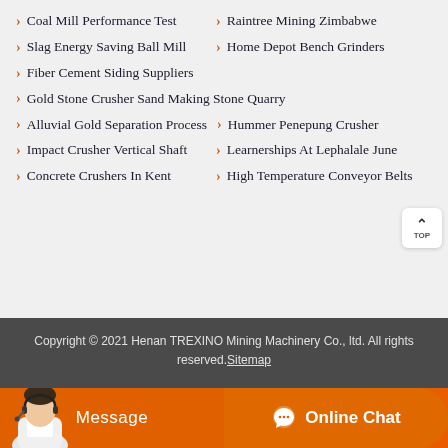Coal Mill Performance Test
Raintree Mining Zimbabwe
Slag Energy Saving Ball Mill
Home Depot Bench Grinders
Fiber Cement Siding Suppliers
Gold Stone Crusher Sand Making Stone Quarry
Alluvial Gold Separation Process
Hummer Penepung Crusher
Impact Crusher Vertical Shaft
Learnerships At Lephalale June
Concrete Crushers In Kent
High Temperature Conveyor Belts
Copyright © 2021 Henan TREXINO Mining Machinery Co., ltd. All rights reserved.Sitemap